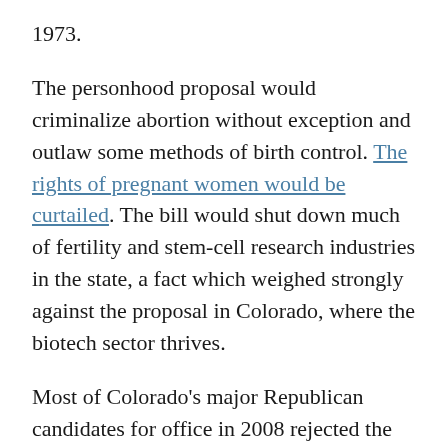1973.
The personhood proposal would criminalize abortion without exception and outlaw some methods of birth control. The rights of pregnant women would be curtailed. The bill would shut down much of fertility and stem-cell research industries in the state, a fact which weighed strongly against the proposal in Colorado, where the biotech sector thrives.
Most of Colorado's major Republican candidates for office in 2008 rejected the proposal as overreaching. In the tea party election of 2010, however, all of the major Republican candidates endorsed it. Fourth District freshman Representative Cory Gardner at a tea party candidate forum said he had circulated copies of the…